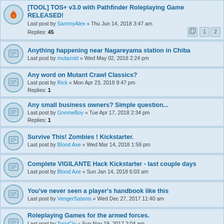[TOOL] TOS+ v3.0 with Pathfinder Roleplaying Game RELEASED! Last post by SammyAlex « Thu Jun 14, 2018 3:47 am Replies: 45
Anything happening near Nagareyama station in Chiba Last post by mutazoid « Wed May 02, 2018 2:24 pm
Any word on Mutant Crawl Classics? Last post by Rick « Mon Apr 23, 2018 9:47 pm Replies: 1
Any small business owners? Simple question... Last post by GnomeBoy « Tue Apr 17, 2018 2:34 pm Replies: 1
Survive This! Zombies ! Kickstarter. Last post by Blood Axe « Wed Mar 14, 2018 1:59 pm
Complete VIGILANTE Hack Kickstarter - last couple days Last post by Blood Axe « Sun Jan 14, 2018 6:03 am
You've never seen a player's handbook like this Last post by VengerSatanis « Wed Dec 27, 2017 11:40 am
Roleplaying Games for the armed forces. Last post by TonyClo « Sun Nov 19, 2017 2:04 am Replies: 1
New Topic  |  236 topics  1 2 3 4 5 ... 8